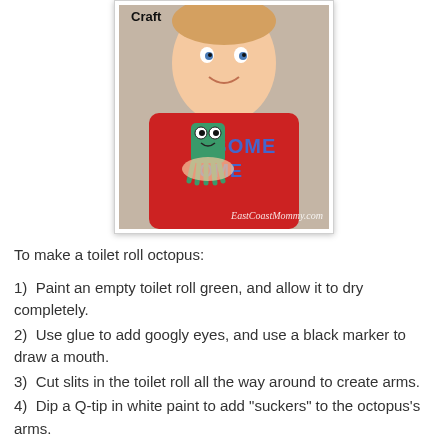[Figure (photo): Young smiling boy in a red t-shirt holding a green toilet roll octopus craft with googly eyes. Text 'Craft' visible at top left and 'EastCoastMommy.com' watermark at bottom right.]
To make a toilet roll octopus:
1)  Paint an empty toilet roll green, and allow it to dry completely.
2)  Use glue to add googly eyes, and use a black marker to draw a mouth.
3)  Cut slits in the toilet roll all the way around to create arms.
4)  Dip a Q-tip in white paint to add "suckers" to the octopus's arms.